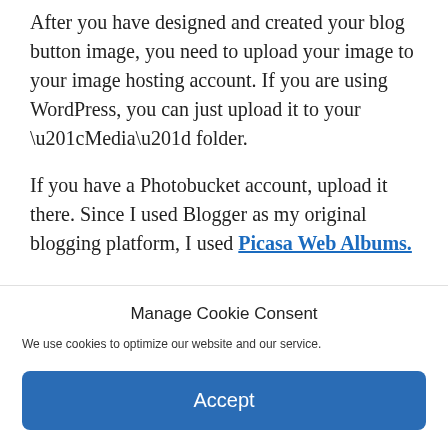After you have designed and created your blog button image, you need to upload your image to your image hosting account. If you are using WordPress, you can just upload it to your “Media” folder.
If you have a Photobucket account, upload it there. Since I used Blogger as my original blogging platform, I used Picasa Web Albums.
Manage Cookie Consent
We use cookies to optimize our website and our service.